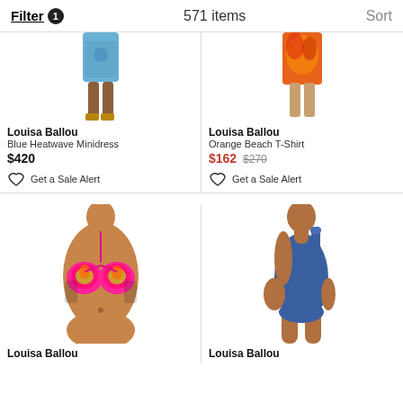Filter 1   571 items   Sort
[Figure (photo): Model wearing blue heatwave minidress, cropped to show lower body]
Louisa Ballou
Blue Heatwave Minidress
$420
Get a Sale Alert
[Figure (photo): Model wearing orange beach t-shirt with fire/floral print, cropped to show lower body]
Louisa Ballou
Orange Beach T-Shirt
$162 $270
Get a Sale Alert
[Figure (photo): Model wearing colorful neon tropical print bikini top]
Louisa Ballou
[Figure (photo): Model wearing blue one-shoulder one-piece swimsuit]
Louisa Ballou